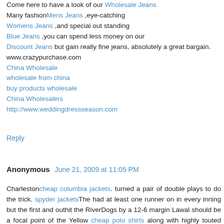Come here to have a look of our Wholesale Jeans Many fashionMens Jeans ,eye-catching Womens Jeans ,and special out standing Blue Jeans ,you can spend less money on our Discount Jeans but gain really fine jeans, absolutely a great bargain.
www.crazypurchase.com
China Wholesale
wholesale from china
buy products wholesale
China Wholesalers
http://www.weddingdressseason.com
Reply
Anonymous June 21, 2009 at 11:05 PM
Charlestoncheap columbia jackets. turned a pair of double plays to do the trick. spyder jacketsThe had at least one runner on in every inning but the first and outhit the RiverDogs by a 12-6 margin Lawal should be a focal point of the Yellow cheap polo shirts along with highly touted newcomer, 6-9 Derrick Favors, rated as the No. 1 power